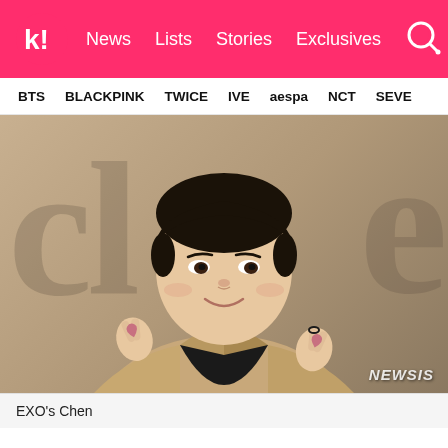Koreaboo — News | Lists | Stories | Exclusives
BTS  BLACKPINK  TWICE  IVE  aespa  NCT  SEVE
[Figure (photo): EXO's Chen smiling and making finger heart gestures with both hands, wearing a beige blazer over a black shirt, at what appears to be a press event with a branded backdrop. NEWSIS watermark visible.]
EXO's Chen